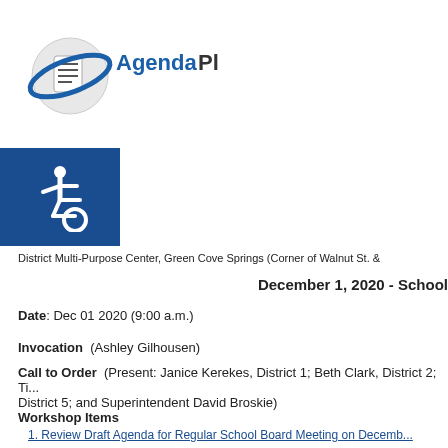[Figure (logo): AgendaPlus logo with circular document icon and blue orbital ring, text reads AgendaPlus with registered trademark symbol]
[Figure (infographic): Blue square with white wheelchair accessibility icon]
District Multi-Purpose Center, Green Cove Springs (Corner of Walnut St. &
December 1, 2020 - School
Date: Dec 01 2020 (9:00 a.m.)
Invocation  (Ashley Gilhousen)
Call to Order  (Present: Janice Kerekes, District 1; Beth Clark, District 2; Ti... District 5; and Superintendent David Broskie)
Workshop Items
1. Review Draft Agenda for Regular School Board Meeting on Decemb...